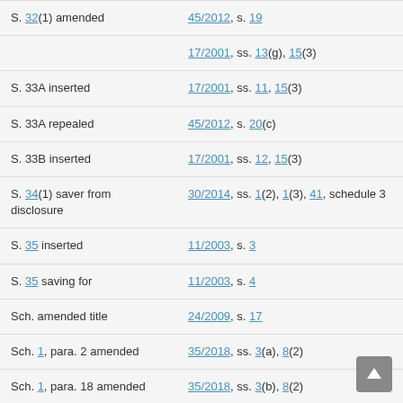| Provision | Amendment |
| --- | --- |
| S. 32(1) amended | 45/2012, s. 19 |
|  | 17/2001, ss. 13(g), 15(3) |
| S. 33A inserted | 17/2001, ss. 11, 15(3) |
| S. 33A repealed | 45/2012, s. 20(c) |
| S. 33B inserted | 17/2001, ss. 12, 15(3) |
| S. 34(1) saver from disclosure | 30/2014, ss. 1(2), 1(3), 41, schedule 3 |
| S. 35 inserted | 11/2003, s. 3 |
| S. 35 saving for | 11/2003, s. 4 |
| Sch. amended title | 24/2009, s. 17 |
| Sch. 1, para. 2 amended | 35/2018, ss. 3(a), 8(2) |
| Sch. 1, para. 18 amended | 35/2018, ss. 3(b), 8(2) |